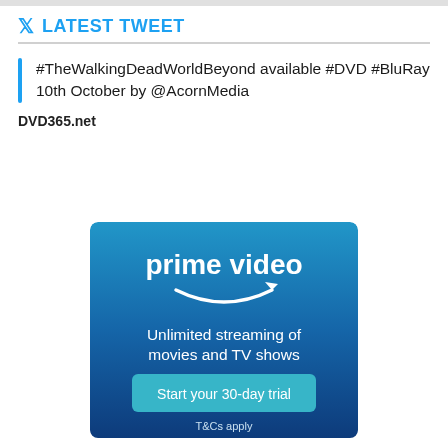LATEST TWEET
#TheWalkingDeadWorldBeyond available #DVD #BluRay 10th October by @AcornMedia
DVD365.net
[Figure (advertisement): Amazon Prime Video advertisement with gradient blue background, 'prime video' text with smile/arrow logo, 'Unlimited streaming of movies and TV shows', 'Start your 30-day trial' button, 'T&Cs apply' text]